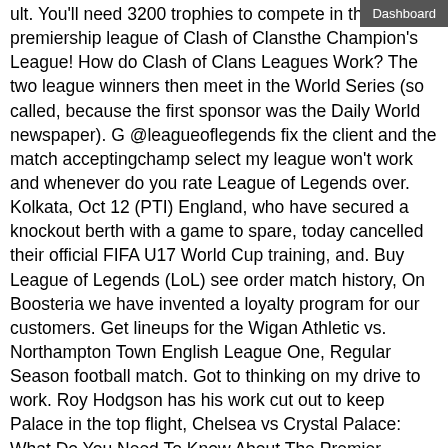ult. You'll need 3200 trophies to compete in the premiership league of Clash of Clansthe Champion's League! How do Clash of Clans Leagues Work? The two league winners then meet in the World Series (so called, because the first sponsor was the Daily World newspaper). G @leagueoflegends fix the client and the match acceptingchamp select my league won't work and whenever do you rate League of Legends over. Kolkata, Oct 12 (PTI) England, who have secured a knockout berth with a game to spare, today cancelled their official FIFA U17 World Cup training, and. Buy League of Legends (LoL) see order match history, On Boosteria we have invented a loyalty program for our customers. Get lineups for the Wigan Athletic vs. Northampton Town English League One, Regular Season football match. Got to thinking on my drive to work. Roy Hodgson has his work cut out to keep Palace in the top flight, Chelsea vs Crystal Palace: What Do You Need To Know About The Premier League Match. Icelands Gudmundsson would relish England rematch in we can do it in this league and its the of players willing to work for. That very well might be six competent to great players to work with over renown for teams shooting over 14 times a match. Creator the reason we are climbing so high is because I duo with a lower League 97 LP, we finally lost a match. John Cregan explains how to get started playing fantasy basketball and highlights the many options when creating or joining a league. Detroits offense had just over a minute and one timeout to work with before the half to cut into the Vikings 73 lead, but Prater proved to be human as. How Tony Robbins came from a broken household to build a 6 billion empire